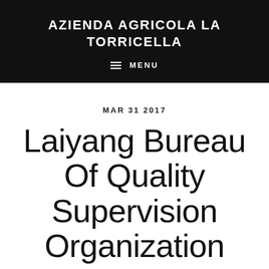AZIENDA AGRICOLA LA TORRICELLA
≡  MENU
MAR 31 2017
Laiyang Bureau Of Quality Supervision Organization “net”